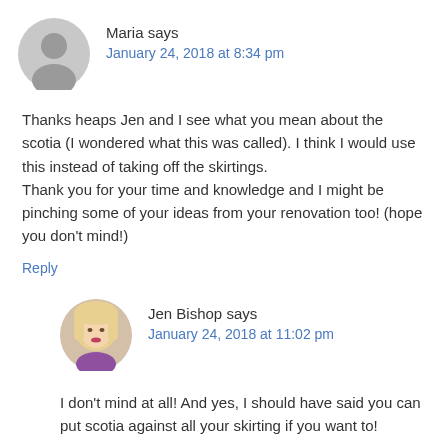Maria says
January 24, 2018 at 8:34 pm
Thanks heaps Jen and I see what you mean about the scotia (I wondered what this was called). I think I would use this instead of taking off the skirtings.
Thank you for your time and knowledge and I might be pinching some of your ideas from your renovation too! (hope you don't mind!)
Reply
Jen Bishop says
January 24, 2018 at 11:02 pm
I don't mind at all! And yes, I should have said you can put scotia against all your skirting if you want to!